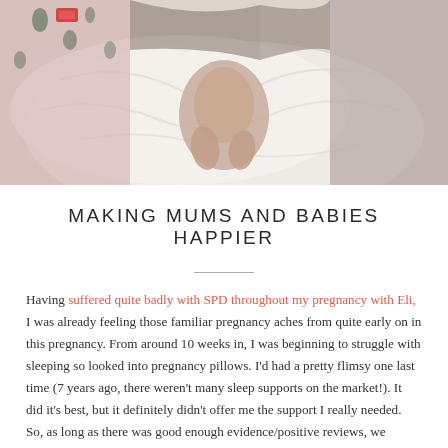[Figure (photo): Overhead photo of a baby lying on white bedding/sheets with an adult wearing pink floral patterned clothing visible nearby]
MAKING MUMS AND BABIES HAPPIER
Having suffered quite badly with SPD throughout my pregnancy with Eli, I was already feeling those familiar pregnancy aches from quite early on in this pregnancy. From around 10 weeks in, I was beginning to struggle with sleeping so looked into pregnancy pillows. I'd had a pretty flimsy one last time (7 years ago, there weren't many sleep supports on the market!). It did it's best, but it definitely didn't offer me the support I really needed. So, as long as there was good enough evidence/positive reviews, we agreed we